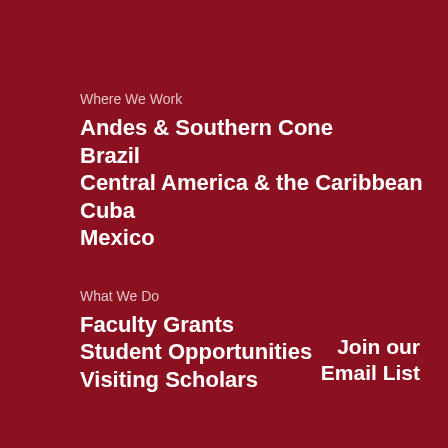Where We Work
Andes & Southern Cone
Brazil
Central America & the Caribbean
Cuba
Mexico
What We Do
Faculty Grants
Student Opportunities
Visiting Scholars
Join our Email List